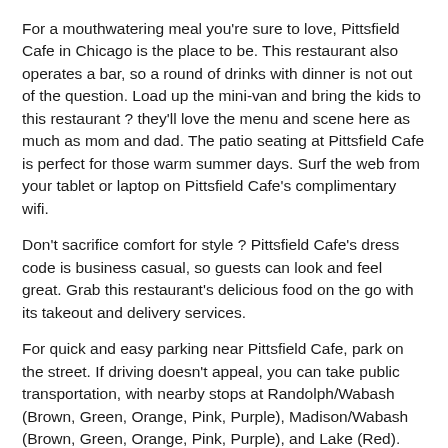For a mouthwatering meal you're sure to love, Pittsfield Cafe in Chicago is the place to be. This restaurant also operates a bar, so a round of drinks with dinner is not out of the question. Load up the mini-van and bring the kids to this restaurant ? they'll love the menu and scene here as much as mom and dad. The patio seating at Pittsfield Cafe is perfect for those warm summer days. Surf the web from your tablet or laptop on Pittsfield Cafe's complimentary wifi.
Don't sacrifice comfort for style ? Pittsfield Cafe's dress code is business casual, so guests can look and feel great. Grab this restaurant's delicious food on the go with its takeout and delivery services.
For quick and easy parking near Pittsfield Cafe, park on the street. If driving doesn't appeal, you can take public transportation, with nearby stops at Randolph/Wabash (Brown, Green, Orange, Pink, Purple), Madison/Wabash (Brown, Green, Orange, Pink, Purple), and Lake (Red).
It's not the cheapest, it's not the most expensive, but it is the most delicious. Come to Pittsfield Cafe for a great bite.